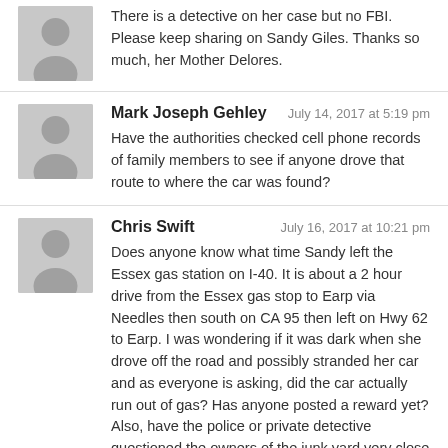There is a detective on her case but no FBI. Please keep sharing on Sandy Giles. Thanks so much, her Mother Delores.
Mark Joseph Gehley — July 14, 2017 at 5:19 pm
Have the authorities checked cell phone records of family members to see if anyone drove that route to where the car was found?
Chris Swift — July 16, 2017 at 10:21 pm
Does anyone know what time Sandy left the Essex gas station on I-40. It is about a 2 hour drive from the Essex gas stop to Earp via Needles then south on CA 95 then left on Hwy 62 to Earp. I was wondering if it was dark when she drove off the road and possibly stranded her car and as everyone is asking, did the car actually run out of gas? Has anyone posted a reward yet? Also, have the police or private detective questioned the owners of the junk yard very close to where her car was found? I live in this area off of CA Hwy 95 and know this whole area well. This Hwy 62 is a dark stretch of road at night